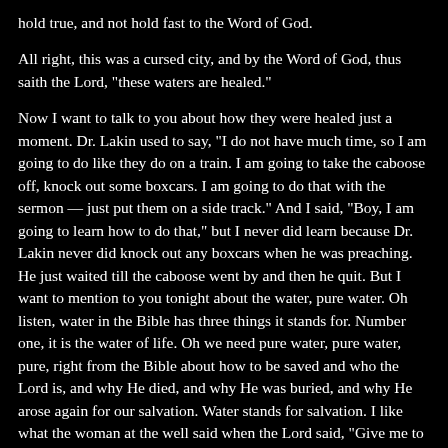hold true, and not hold fast to the Word of God.
All right, this was a cursed city, and by the Word of God, thus saith the Lord, "these waters are healed."
Now I want to talk to you about how they were healed just a moment. Dr. Lakin used to say, "I do not have much time, so I am going to do like they do on a train. I am going to take the caboose off, knock out some boxcars. I am going to do that with the sermon — just put them on a side track." And I said, "Boy, I am going to learn how to do that," but I never did learn because Dr. Lakin never did knock out any boxcars when he was preaching. He just waited till the caboose went by and then he quit. But I want to mention to you tonight about the water, pure water. Oh listen, water in the Bible has three things it stands for. Number one, it is the water of life. Oh we need pure water, pure water, pure, right from the Bible about how to be saved and who the Lord is, and why He died, and why He was buried, and why He arose again for our salvation. Water stands for salvation. I like what the woman at the well said when the Lord said, "Give me to drink," and began to talk.